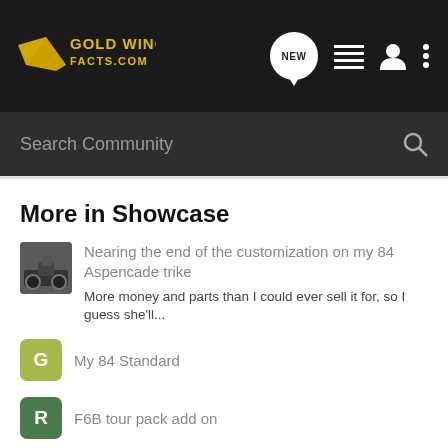Gold Wing Facts .com — navigation bar with NEW, list, user, and menu icons
Search Community
More in Showcase
Nearing the end of the customization on my 84 Aspencade trike — More money and parts than I could ever sell it for, so I guess she'll...
My 84 Standard
F6B tour pack add on
82 Goldwing 1100 Interstate — 82 Goldwing Interstate gl1100